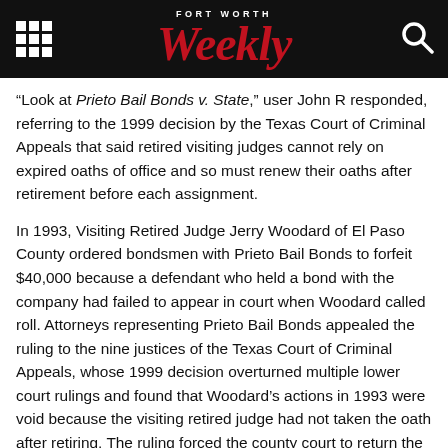Fort Worth Weekly
“Look at Prieto Bail Bonds v. State,” user John R responded, referring to the 1999 decision by the Texas Court of Criminal Appeals that said retired visiting judges cannot rely on expired oaths of office and so must renew their oaths after retirement before each assignment.
In 1993, Visiting Retired Judge Jerry Woodard of El Paso County ordered bondsmen with Prieto Bail Bonds to forfeit $40,000 because a defendant who held a bond with the company had failed to appear in court when Woodard called roll. Attorneys representing Prieto Bail Bonds appealed the ruling to the nine justices of the Texas Court of Criminal Appeals, whose 1999 decision overturned multiple lower court rulings and found that Woodard’s actions in 1993 were void because the visiting retired judge had not taken the oath after retiring. The ruling forced the county court to return the forfeited $40,000 to Prieto.